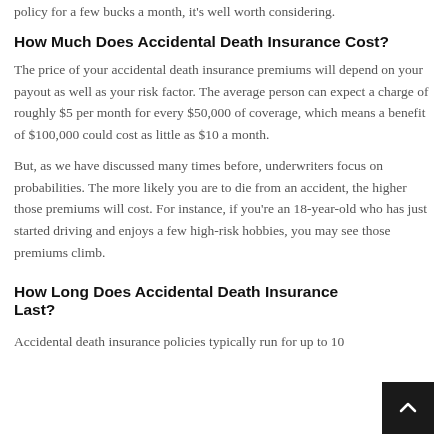policy for a few bucks a month, it's well worth considering.
How Much Does Accidental Death Insurance Cost?
The price of your accidental death insurance premiums will depend on your payout as well as your risk factor. The average person can expect a charge of roughly $5 per month for every $50,000 of coverage, which means a benefit of $100,000 could cost as little as $10 a month.
But, as we have discussed many times before, underwriters focus on probabilities. The more likely you are to die from an accident, the higher those premiums will cost. For instance, if you're an 18-year-old who has just started driving and enjoys a few high-risk hobbies, you may see those premiums climb.
How Long Does Accidental Death Insurance Last?
Accidental death insurance policies typically run for up to 10...